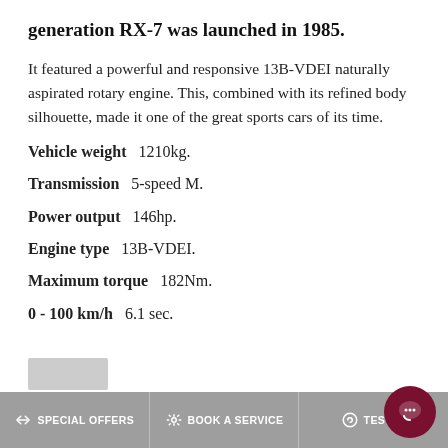generation RX-7 was launched in 1985.
It featured a powerful and responsive 13B-VDEI naturally aspirated rotary engine. This, combined with its refined body silhouette, made it one of the great sports cars of its time.
Vehicle weight   1210kg.
Transmission   5-speed M.
Power output   146hp.
Engine type   13B-VDEI.
Maximum torque   182Nm.
0 - 100 km/h   6.1 sec.
SPECIAL OFFERS   BOOK A SERVICE   TEST DI...